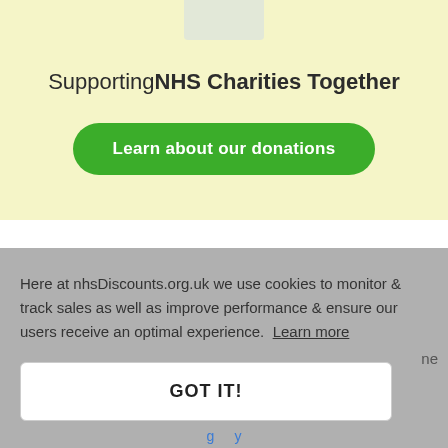[Figure (other): Partial NHS logo or banner image at top center]
Supporting NHS Charities Together
Learn about our donations
Here at nhsDiscounts.org.uk we use cookies to monitor & track sales as well as improve performance & ensure our users receive an optimal experience. Learn more
GOT IT!